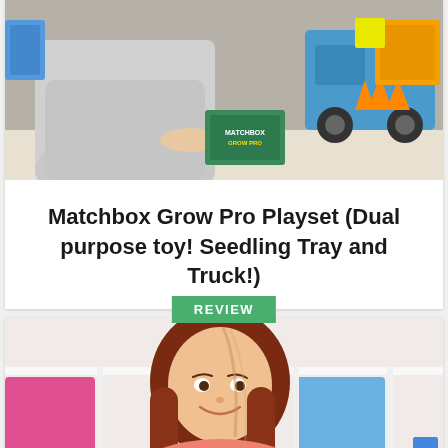[Figure (photo): A person sitting at a table holding a Matchbox Grow Pro box, with toy trucks and construction playsets visible in the background. There is a green 'REVIEW' badge overlaid at the bottom center of the image.]
Matchbox Grow Pro Playset (Dual purpose toy! Seedling Tray and Truck!)
[Figure (photo): A smiling woman with long reddish-brown hair wearing a pink/coral cardigan, sitting at a table with various toys and games visible on shelves behind her including a Funko Pop figure and colorful storage boxes.]